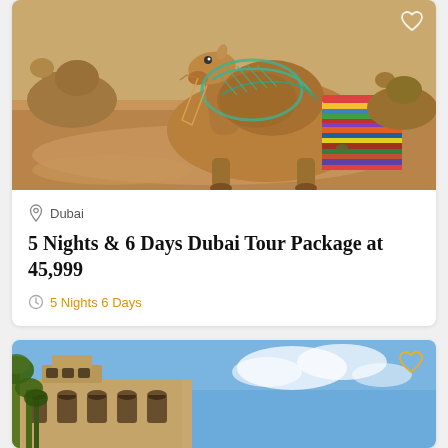[Figure (photo): Camels resting on sandy desert ground, one camel in foreground with decorative colorful textile saddle]
Dubai
5 Nights & 6 Days Dubai Tour Package at 45,999
5 Nights 6 Days
[Figure (photo): Traditional Arabic architecture building with palm trees against blue sky, Dubai]